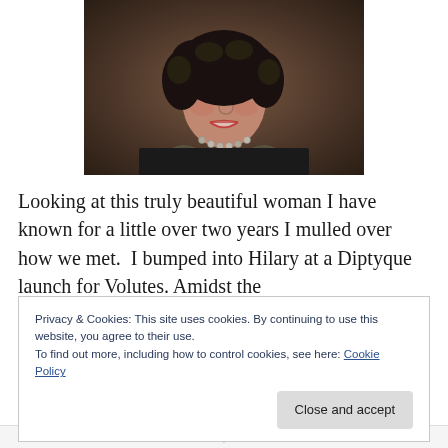[Figure (photo): Portrait photo of a woman with dark curly hair, wearing a dark top and pearl necklace, smiling, against a brown studio background.]
Looking at this truly beautiful woman I have known for a little over two years I mulled over how we met.  I bumped into Hilary at a Diptyque launch for Volutes. Amidst the
Privacy & Cookies: This site uses cookies. By continuing to use this website, you agree to their use.
To find out more, including how to control cookies, see here: Cookie Policy
Close and accept